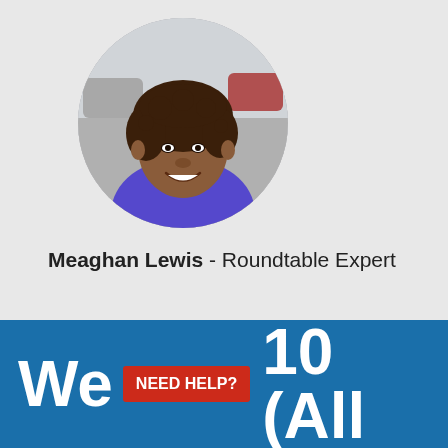[Figure (photo): Circular portrait photo of Meaghan Lewis, a woman with curly dark hair wearing a blue/purple shirt, smiling, with a blurred street background]
Meaghan Lewis - Roundtable Expert
[Figure (infographic): Blue banner at bottom with large white text 'We' on left, a red 'NEED HELP?' badge in center, and '10 (All' in large white text on right]